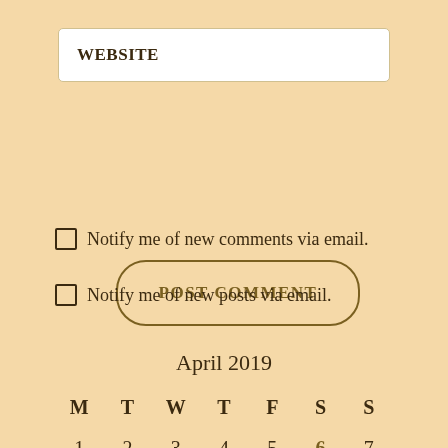WEBSITE
POST COMMENT
Notify me of new comments via email.
Notify me of new posts via email.
| April 2019 |  |  |  |  |  |  |
| --- | --- | --- | --- | --- | --- | --- |
| M | T | W | T | F | S | S |
| 1 | 2 | 3 | 4 | 5 | 6 | 7 |
| 8 |  |  |  |  |  |  |